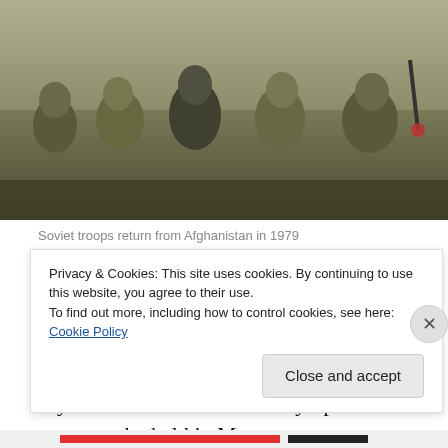[Figure (photo): Soviet troops sitting on a military vehicle, returning from Afghanistan in 1979. Multiple soldiers in olive uniforms are visible.]
Soviet troops return from Afghanistan in 1979
January — Soviet troops invade Afghanistan. The invasion came in response to Afghan attacks on the pro-Soviet government. In response, the U.S. boycotts the 1980 summer Olympic games, to be held in Moscow.
Privacy & Cookies: This site uses cookies. By continuing to use this website, you agree to their use.
To find out more, including how to control cookies, see here: Cookie Policy
Close and accept